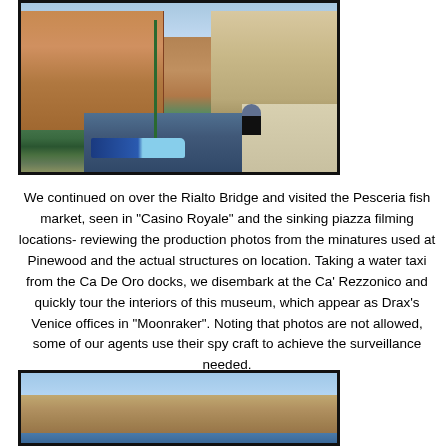[Figure (photo): Venice canal scene with colorful buildings on both sides, a green lamp post, a blue-and-white boat on the water, and a person standing on a stone ledge/pavement area to the right.]
We continued on over the Rialto Bridge and visited the Pesceria fish market, seen in "Casino Royale" and the sinking piazza filming locations- reviewing the production photos from the minatures used at Pinewood and the actual structures on location. Taking a water taxi from the Ca De Oro docks, we disembark at the Ca' Rezzonico and quickly tour the interiors of this museum, which appear as Drax's Venice offices in "Moonraker". Noting that photos are not allowed, some of our agents use their spy craft to achieve the surveillance needed.
[Figure (photo): Panoramic view of Venice buildings along a canal waterfront, showing historic architecture with towers and ornate facades against a light blue sky.]